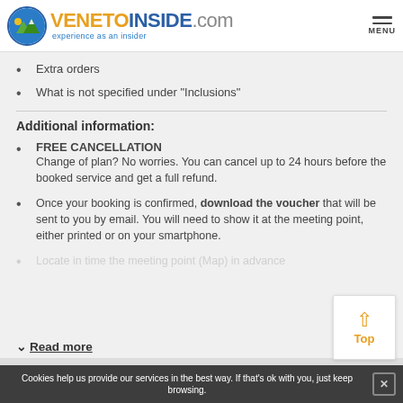VENETOINSIDE.com experience as an insider
Extra orders
What is not specified under "Inclusions"
Additional information:
FREE CANCELLATION
Change of plan? No worries. You can cancel up to 24 hours before the booked service and get a full refund.
Once your booking is confirmed, download the voucher that will be sent to you by email. You will need to show it at the meeting point, either printed or on your smartphone.
Locate in time the meeting point (Map) in advance
Read more
Cookies help us provide our services in the best way. If that's ok with you, just keep browsing.